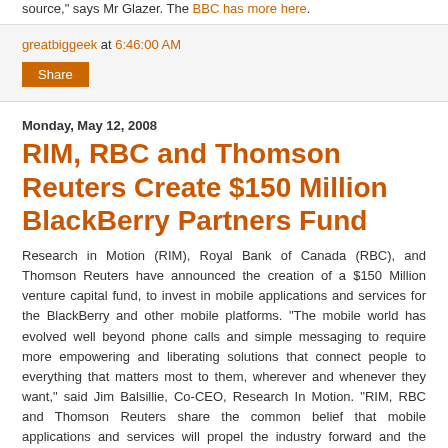source," says Mr Glazer. The BBC has more here.
greatbiggeek at 6:46:00 AM
Share
Monday, May 12, 2008
RIM, RBC and Thomson Reuters Create $150 Million BlackBerry Partners Fund
Research in Motion (RIM), Royal Bank of Canada (RBC), and Thomson Reuters have announced the creation of a $150 Million venture capital fund, to invest in mobile applications and services for the BlackBerry and other mobile platforms. "The mobile world has evolved well beyond phone calls and simple messaging to require more empowering and liberating solutions that connect people to everything that matters most to them, wherever and whenever they want," said Jim Balsillie, Co-CEO, Research In Motion. "RIM, RBC and Thomson Reuters share the common belief that mobile applications and services will propel the industry forward and the BlackBerry Partners Fund is